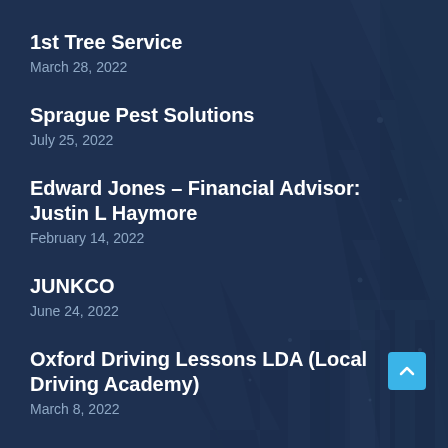1st Tree Service
March 28, 2022
Sprague Pest Solutions
July 25, 2022
Edward Jones – Financial Advisor: Justin L Haymore
February 14, 2022
JUNKCO
June 24, 2022
Oxford Driving Lessons LDA (Local Driving Academy)
March 8, 2022